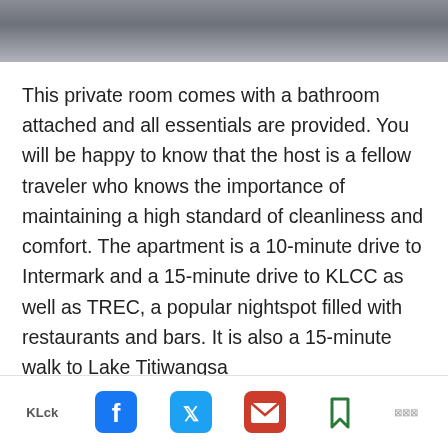[Figure (screenshot): Dark grey gradient top bar, part of a mobile app or website header]
This private room comes with a bathroom attached and all essentials are provided. You will be happy to know that the host is a fellow traveler who knows the importance of maintaining a high standard of cleanliness and comfort. The apartment is a 10-minute drive to Intermark and a 15-minute drive to KLCC as well as TREC, a popular nightspot filled with restaurants and bars. It is also a 15-minute walk to Lake Titiwangsa [Explore Kuala Lumpur] Donald’s outlet, and nearby local food shops.
[Figure (screenshot): Mobile app bottom share bar with Facebook, Twitter, Email, and Bookmark icons, plus partial KL text on left and share icons on right]